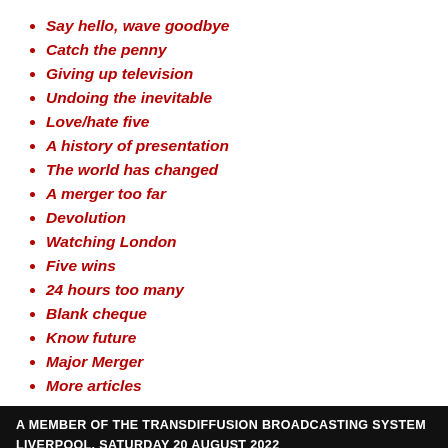Say hello, wave goodbye
Catch the penny
Giving up television
Undoing the inevitable
Love/hate five
A history of presentation
The world has changed
A merger too far
Devolution
Watching London
Five wins
24 hours too many
Blank cheque
Know future
Major Merger
More articles
A MEMBER OF THE TRANSDIFFUSION BROADCASTING SYSTEM LIVERPOOL, SATURDAY 20 AUGUST 2022